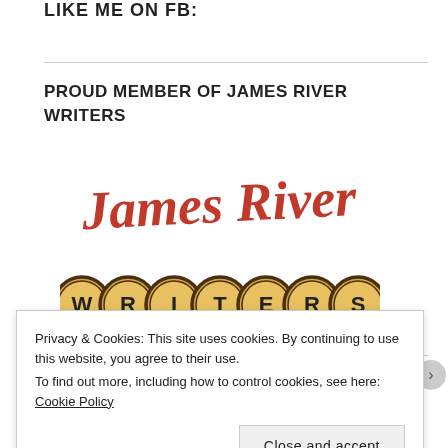LIKE ME ON FB:
PROUD MEMBER OF JAMES RIVER WRITERS
[Figure (logo): James River Writers logo: red cursive 'James River' text above typewriter keys spelling out 'WRITERS' in yellow/gold circles with dark borders]
Privacy & Cookies: This site uses cookies. By continuing to use this website, you agree to their use.
To find out more, including how to control cookies, see here: Cookie Policy
Close and accept